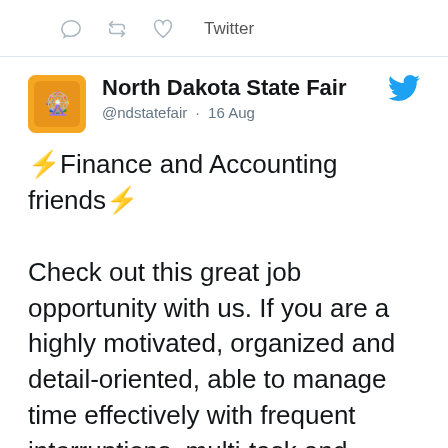[Figure (screenshot): Twitter action icons: comment, retweet, heart, and the word 'Twitter']
North Dakota State Fair @ndstatefair · 16 Aug
⚡Finance and Accounting friends⚡

Check out this great job opportunity with us. If you are a highly motivated, organized and detail-oriented, able to manage time effectively with frequent interruptions, multi-task and prioritize work this